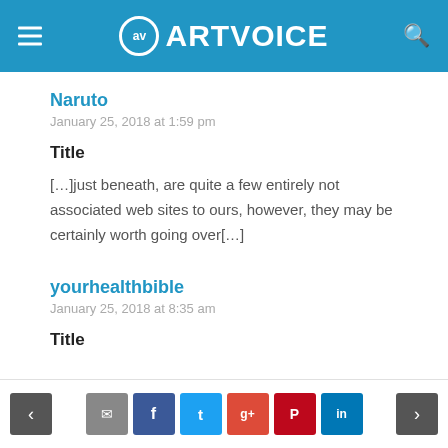ARTVOICE
Naruto
January 25, 2018 at 1:59 pm
Title
[…]just beneath, are quite a few entirely not associated web sites to ours, however, they may be certainly worth going over[…]
yourhealthbible
January 25, 2018 at 8:35 am
Title
< comment share facebook twitter google+ pinterest linkedin >